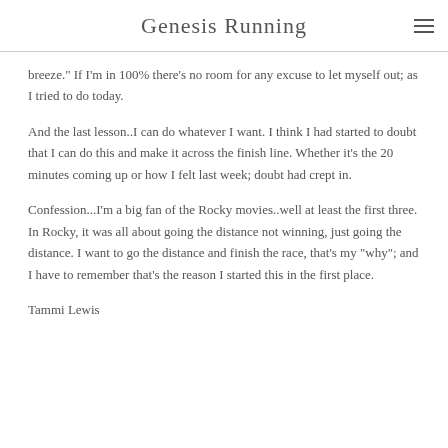Genesis Running
breeze." If I'm in 100% there's no room for any excuse to let myself out; as I tried to do today.
And the last lesson..I can do whatever I want. I think I had started to doubt that I can do this and make it across the finish line. Whether it's the 20 minutes coming up or how I felt last week; doubt had crept in.
Confession...I'm a big fan of the Rocky movies..well at least the first three. In Rocky, it was all about going the distance not winning, just going the distance. I want to go the distance and finish the race, that's my “why”; and I have to remember that's the reason I started this in the first place.
Tammi Lewis